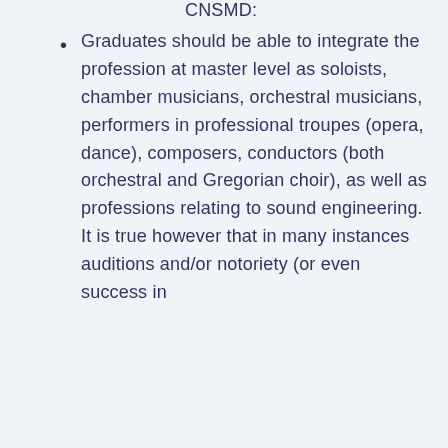CNSMD:
Graduates should be able to integrate the profession at master level as soloists, chamber musicians, orchestral musicians, performers in professional troupes (opera, dance), composers, conductors (both orchestral and Gregorian choir), as well as professions relating to sound engineering. It is true however that in many instances auditions and/or notoriety (or even success in